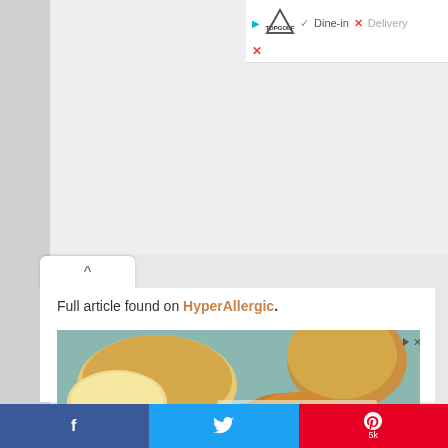[Figure (screenshot): Top advertisement bar showing Topgolf logo with Dine-in checkmark and Delivery with X mark]
[Figure (screenshot): Collapse/accordion chevron up button]
Full article found on HyperAllergic.
[Figure (photo): Food advertisement image showing dinner rolls and fried chicken on a teal background]
[Figure (screenshot): Bottom social sharing bar with Facebook, Twitter, and Pinterest (5k) buttons]